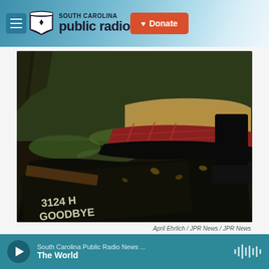South Carolina Public Radio — Donate
[Figure (photo): A gravestone or marker lying on the ground with text, surrounded by grass, leaves, and fabric items. A person's boot/leg is visible in the upper right. The marker appears to read '3124 GOODBYE'.]
April Ehrlich / JPR News / JPR News
South Carolina Public Radio News ... The World